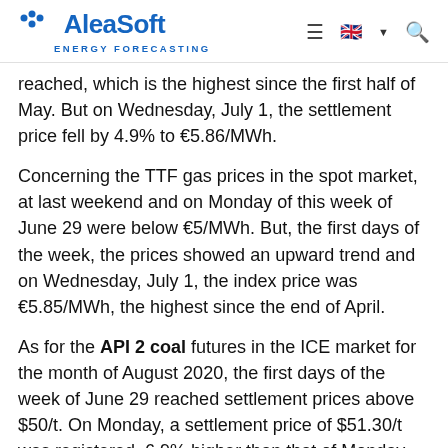AleaSoft ENERGY FORECASTING
reached, which is the highest since the first half of May. But on Wednesday, July 1, the settlement price fell by 4.9% to €5.86/MWh.
Concerning the TTF gas prices in the spot market, at last weekend and on Monday of this week of June 29 were below €5/MWh. But, the first days of the week, the prices showed an upward trend and on Wednesday, July 1, the index price was €5.85/MWh, the highest since the end of April.
As for the API 2 coal futures in the ICE market for the month of August 2020, the first days of the week of June 29 reached settlement prices above $50/t. On Monday, a settlement price of $51.30/t was registered, 6.9% higher than that of Monday, June 22, and the highest since the end of March. But then the prices fell slightly to reach